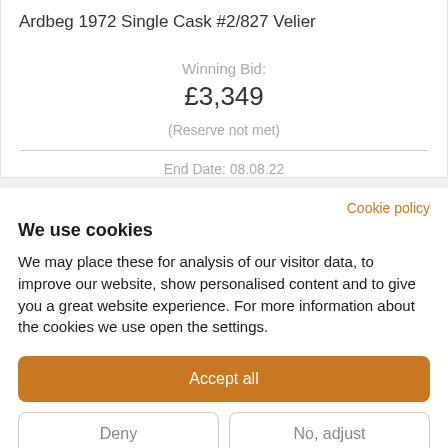Ardbeg 1972 Single Cask #2/827 Velier
Winning Bid:
£3,349
(Reserve not met)
End Date: 08.08.22
Cookie policy
We use cookies
We may place these for analysis of our visitor data, to improve our website, show personalised content and to give you a great website experience. For more information about the cookies we use open the settings.
Accept all
Deny
No, adjust